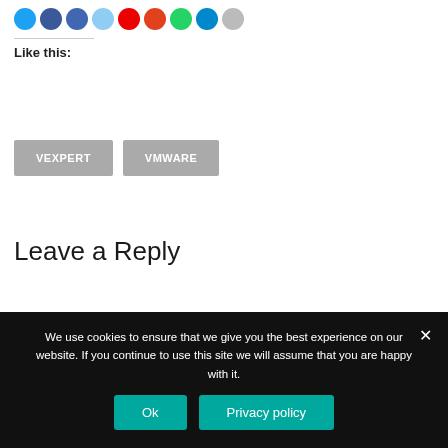[Figure (other): Row of social media sharing icon circles (blue, dark blue, blue, light blue, red, red-orange, green, blue, light gray)]
Like this:
VEXPERT
VMWARE
Leave a Reply
We use cookies to ensure that we give you the best experience on our website. If you continue to use this site we will assume that you are happy with it.
Ok
Privacy policy